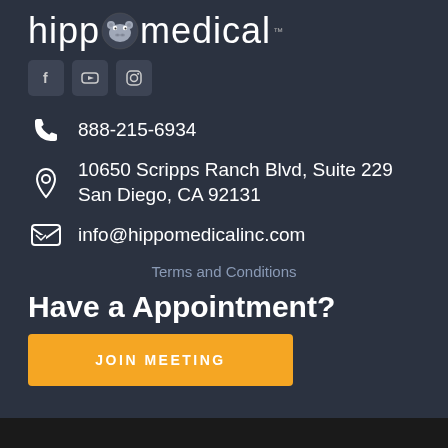[Figure (logo): Hippo Medical logo with hippo face icon replacing the 'o' in hippo, white text on dark background]
[Figure (infographic): Three social media icon buttons: Facebook (f), YouTube (play button), Instagram (camera) — square rounded dark buttons]
888-215-6934
10650 Scripps Ranch Blvd, Suite 229
San Diego, CA 92131
info@hippomedicalinc.com
Terms and Conditions
Have a Appointment?
JOIN MEETING